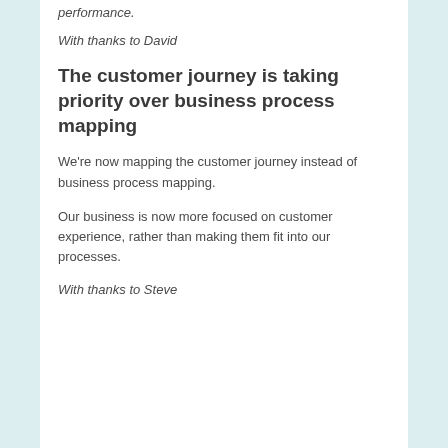performance.
With thanks to David
The customer journey is taking priority over business process mapping
We're now mapping the customer journey instead of business process mapping.
Our business is now more focused on customer experience, rather than making them fit into our processes.
With thanks to Steve